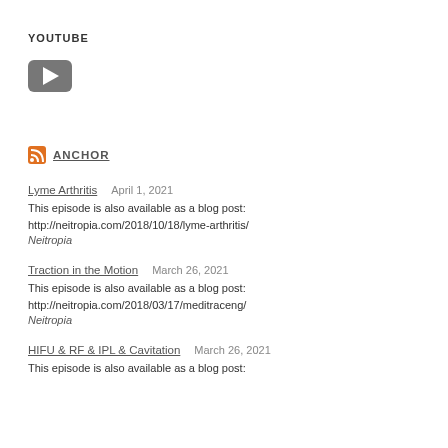YOUTUBE
[Figure (logo): YouTube play button icon — dark grey rounded rectangle with white triangle play symbol]
ANCHOR
Lyme Arthritis    April 1, 2021
This episode is also available as a blog post:
http://neitropia.com/2018/10/18/lyme-arthritis/
Neitropia
Traction in the Motion    March 26, 2021
This episode is also available as a blog post:
http://neitropia.com/2018/03/17/meditraceng/
Neitropia
HIFU & RF & IPL & Cavitation    March 26, 2021
This episode is also available as a blog post: